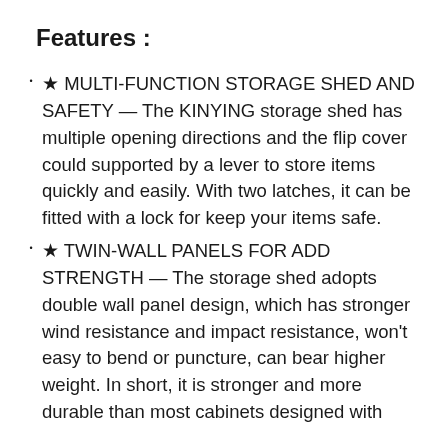Features :
★ MULTI-FUNCTION STORAGE SHED AND SAFETY — The KINYING storage shed has multiple opening directions and the flip cover could supported by a lever to store items quickly and easily. With two latches, it can be fitted with a lock for keep your items safe.
★ TWIN-WALL PANELS FOR ADD STRENGTH — The storage shed adopts double wall panel design, which has stronger wind resistance and impact resistance, won't easy to bend or puncture, can bear higher weight. In short, it is stronger and more durable than most cabinets designed with